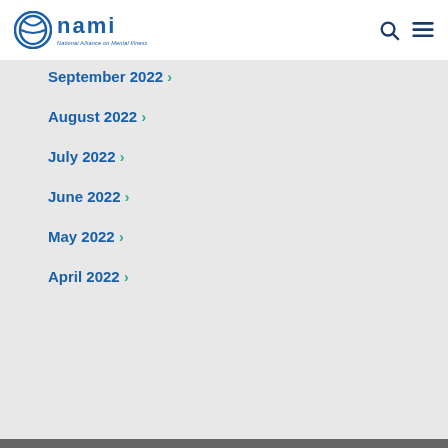NAMI - National Alliance on Mental Illness
September 2022 >
August 2022 >
July 2022 >
June 2022 >
May 2022 >
April 2022 >